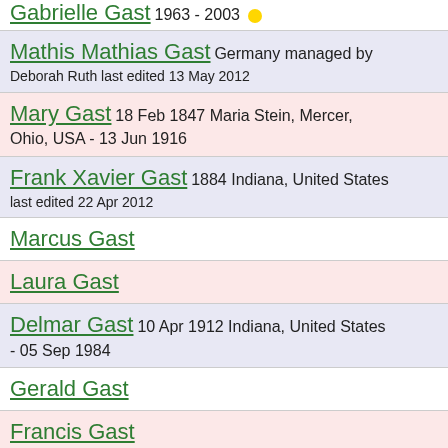Gabrielle Gast 1963 - 2003 [circle icon]
Mathis Mathias Gast Germany managed by Deborah Ruth last edited 13 May 2012
Mary Gast 18 Feb 1847 Maria Stein, Mercer, Ohio, USA - 13 Jun 1916
Frank Xavier Gast 1884 Indiana, United States last edited 22 Apr 2012
Marcus Gast
Laura Gast
Delmar Gast 10 Apr 1912 Indiana, United States - 05 Sep 1984
Gerald Gast
Francis Gast
Ellen Gast
Thomas Gast